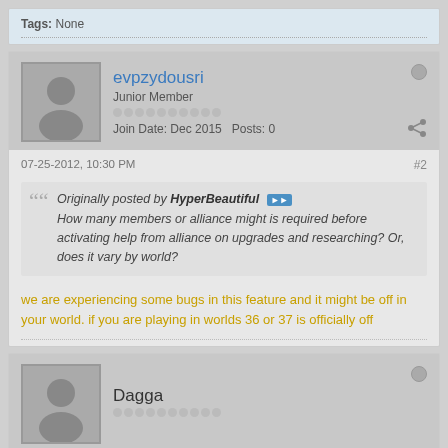Tags: None
evpzydousri
Junior Member
Join Date: Dec 2015  Posts: 0
07-25-2012, 10:30 PM  #2
Originally posted by HyperBeautiful
How many members or alliance might is required before activating help from alliance on upgrades and researching? Or, does it vary by world?
we are experiencing some bugs in this feature and it might be off in your world. if you are playing in worlds 36 or 37 is officially off
Dagga